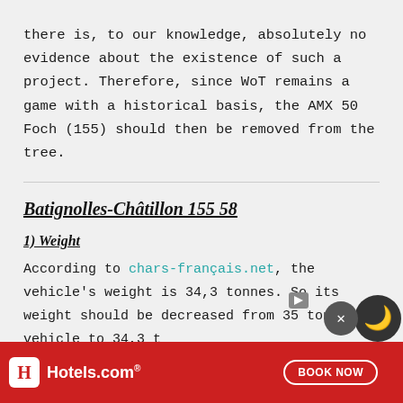there is, to our knowledge, absolutely no evidence about the existence of such a project. Therefore, since WoT remains a game with a historical basis, the AMX 50 Foch (155) should then be removed from the tree.
Batignolles-Châtillon 155 58
1) Weight
According to chars-français.net, the vehicle's weight is 34,3 tonnes. So its weight should be decreased from 35 tonnes vehicle to 34,3 t
Note: buf